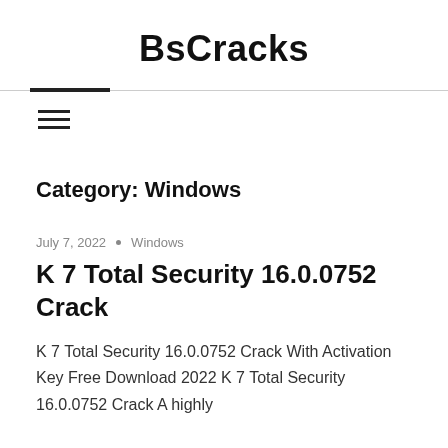BsCracks
Category: Windows
July 7, 2022 • Windows
K 7 Total Security 16.0.0752 Crack
K 7 Total Security 16.0.0752 Crack With Activation Key Free Download 2022 K 7 Total Security 16.0.0752 Crack A highly